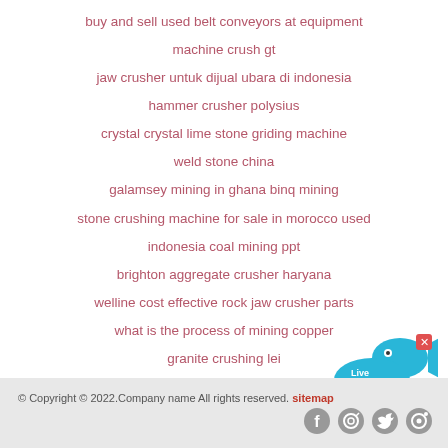buy and sell used belt conveyors at equipment
machine crush gt
jaw crusher untuk dijual ubara di indonesia
hammer crusher polysius
crystal crystal lime stone griding machine
weld stone china
galamsey mining in ghana binq mining
stone crushing machine for sale in morocco used
indonesia coal mining ppt
brighton aggregate crusher haryana
welline cost effective rock jaw crusher parts
what is the process of mining copper
granite crushing lei
[Figure (illustration): Live Chat button with blue chat bubble and fish icon with close X]
© Copyright © 2022.Company name All rights reserved. sitemap